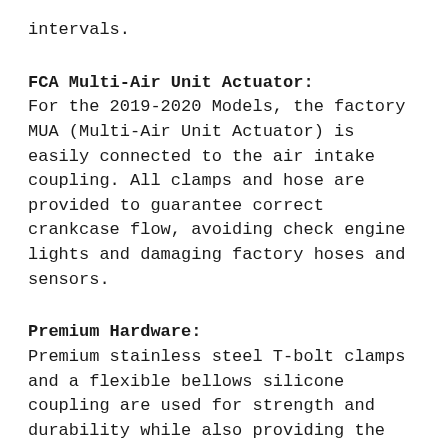intervals.
FCA Multi-Air Unit Actuator:
For the 2019-2020 Models, the factory MUA (Multi-Air Unit Actuator) is easily connected to the air intake coupling. All clamps and hose are provided to guarantee correct crankcase flow, avoiding check engine lights and damaging factory hoses and sensors.
Premium Hardware:
Premium stainless steel T-bolt clamps and a flexible bellows silicone coupling are used for strength and durability while also providing the most secure installation available. Momentum intakes are designed with fewer parts for a quick and simple installation.